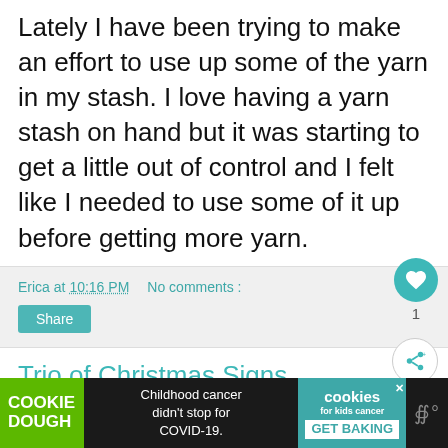Lately I have been trying to make an effort to use up some of the yarn in my stash. I love having a yarn stash on hand but it was starting to get a little out of control and I felt like I needed to use some of it up before getting more yarn.
Erica at 10:16 PM    No comments :
Share
Trio of Christmas Signs
-This post may contain affiliate links-
[Figure (screenshot): Advertisement bar: COOKIE DOUGH logo, Childhood cancer didn't stop for COVID-19., cookies for kids cancer GET BAKING badge, close button, mute icon]